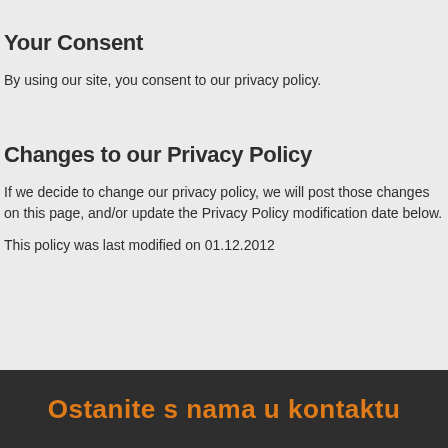Your Consent
By using our site, you consent to our privacy policy.
Changes to our Privacy Policy
If we decide to change our privacy policy, we will post those changes on this page, and/or update the Privacy Policy modification date below.
This policy was last modified on 01.12.2012
Ostanite s nama u kontaktu